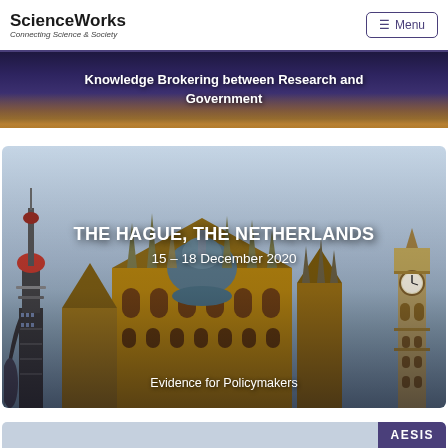ScienceWorks — Connecting Science & Society | Menu
Knowledge Brokering between Research and Government
[Figure (photo): Composite panoramic image of The Hague / European government buildings at dusk with tower overlaid, showing Gothic architecture, domed buildings, and Big Ben-style clock tower against a grey-blue sky]
THE HAGUE, THE NETHERLANDS
15 – 18 December 2020
Evidence for Policymakers
[Figure (screenshot): Partial bottom banner showing AESIS logo/badge on blue-grey background]